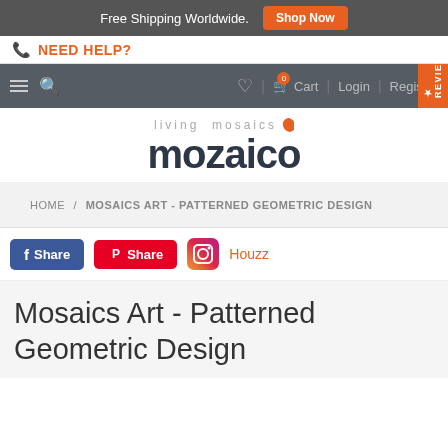Free Shipping Worldwide. Shop Now
NEED HELP?
Cart 0 | Login | Register | REVIEWS
[Figure (logo): Living Mosaics Mozaico logo with leaf icon]
HOME / MOSAICS ART - PATTERNED GEOMETRIC DESIGN
Share Share Houzz
Mosaics Art - Patterned Geometric Design